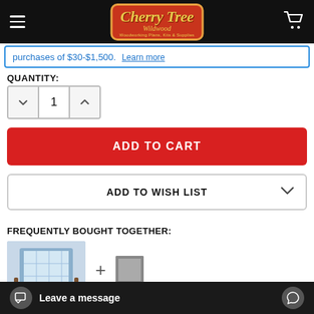CherryTree Wildwood — Woodworking Plans, Kits & Supplies
purchases of $30-$1,500. Learn more
QUANTITY:
1
ADD TO CART
ADD TO WISH LIST
FREQUENTLY BOUGHT TOGETHER:
[Figure (photo): Product photo of a quilt on a rocking chair]
Leave a message